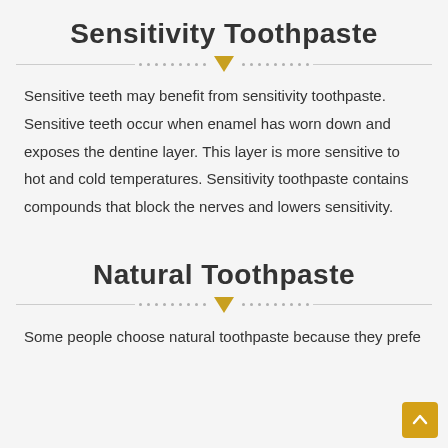Sensitivity Toothpaste
Sensitive teeth may benefit from sensitivity toothpaste. Sensitive teeth occur when enamel has worn down and exposes the dentine layer. This layer is more sensitive to hot and cold temperatures. Sensitivity toothpaste contains compounds that block the nerves and lowers sensitivity.
Natural Toothpaste
Some people choose natural toothpaste because they prefe...